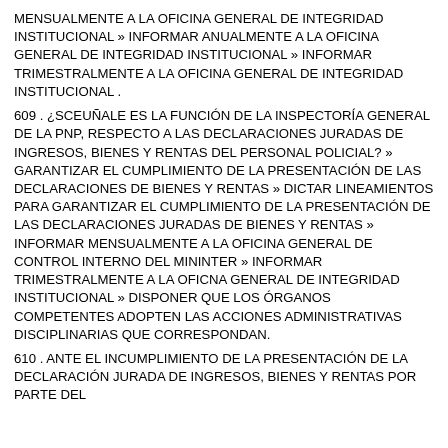MENSUALMENTE A LA OFICINA GENERAL DE INTEGRIDAD INSTITUCIONAL » INFORMAR ANUALMENTE A LA OFICINA GENERAL DE INTEGRIDAD INSTITUCIONAL » INFORMAR TRIMESTRALMENTE A LA OFICINA GENERAL DE INTEGRIDAD INSTITUCIONAL .
609 . ¿SCEUÑALE ES LA FUNCIÓN DE LA INSPECTORÍA GENERAL DE LA PNP, RESPECTO A LAS DECLARACIONES JURADAS DE INGRESOS, BIENES Y RENTAS DEL PERSONAL POLICIAL? » GARANTIZAR EL CUMPLIMIENTO DE LA PRESENTACIÓN DE LAS DECLARACIONES DE BIENES Y RENTAS » DICTAR LINEAMIENTOS PARA GARANTIZAR EL CUMPLIMIENTO DE LA PRESENTACIÓN DE LAS DECLARACIONES JURADAS DE BIENES Y RENTAS » INFORMAR MENSUALMENTE A LA OFICINA GENERAL DE CONTROL INTERNO DEL MININTER » INFORMAR TRIMESTRALMENTE A LA OFICNA GENERAL DE INTEGRIDAD INSTITUCIONAL » DISPONER QUE LOS ÓRGANOS COMPETENTES ADOPTEN LAS ACCIONES ADMINISTRATIVAS DISCIPLINARIAS QUE CORRESPONDAN.
610 . ANTE EL INCUMPLIMIENTO DE LA PRESENTACIÓN DE LA DECLARACIÓN JURADA DE INGRESOS, BIENES Y RENTAS POR PARTE DEL